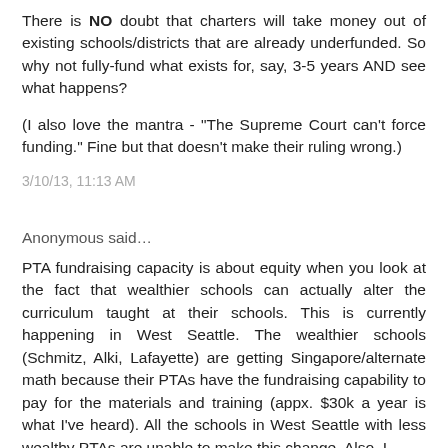There is NO doubt that charters will take money out of existing schools/districts that are already underfunded. So why not fully-fund what exists for, say, 3-5 years AND see what happens?
(I also love the mantra - "The Supreme Court can't force funding." Fine but that doesn't make their ruling wrong.)
3/10/13, 11:13 AM
Anonymous said…
PTA fundraising capacity is about equity when you look at the fact that wealthier schools can actually alter the curriculum taught at their schools. This is currently happening in West Seattle. The wealthier schools (Schmitz, Alki, Lafayette) are getting Singapore/alternate math because their PTAs have the fundraising capability to pay for the materials and training (appx. $30k a year is what I've heard). All the schools in West Seattle with less wealthy PTAs are unable to make this change. Also, I